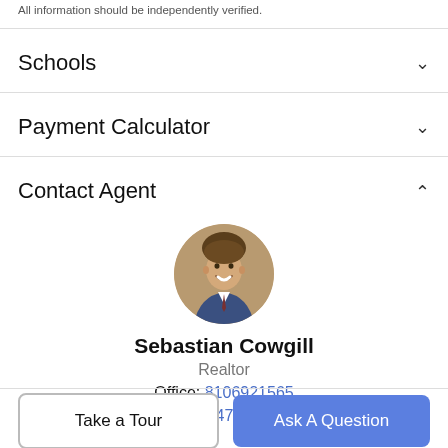All information should be independently verified.
Schools
Payment Calculator
Contact Agent
[Figure (photo): Circular profile photo of Sebastian Cowgill, a young man smiling, wearing a suit, with a natural background]
Sebastian Cowgill
Realtor
Office: 8106921565
Cell: 7347170806
Take a Tour
Ask A Question